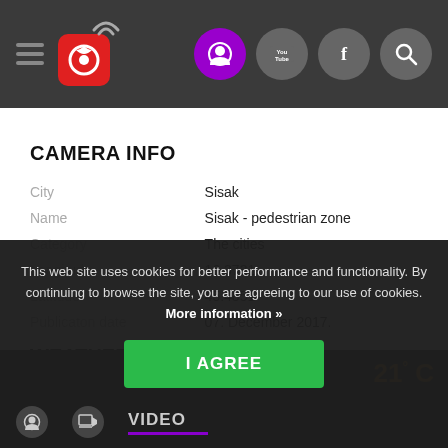[Figure (screenshot): Navigation bar with hamburger menu, camera/streaming logo with wifi icon, and social/utility icon circles (purple active user icon, YouTube, Facebook, Search)]
CAMERA INFO
| Field | Value |
| --- | --- |
| City | Sisak |
| Name | Sisak - pedestrian zone |
| Category | The cities |
| Longitude | 16.3731 |
| Latitude | 45.4851 |
| Publicaton date | 07. December 2017. |
WEATHER
21° C
This web site uses cookies for better performance and functionality. By continuing to browse the site, you are agreeing to our use of cookies. More information »
I AGREE
VIDEO